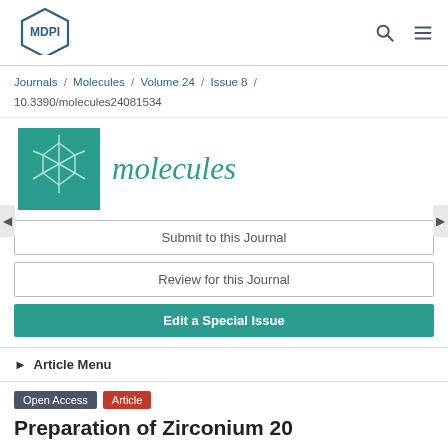[Figure (logo): MDPI hexagonal logo]
Journals / Molecules / Volume 24 / Issue 8 / 10.3390/molecules24081534
[Figure (logo): Molecules journal logo with teal background and molecule illustration]
Submit to this Journal
Review for this Journal
Edit a Special Issue
► Article Menu
Open Access  Article
Preparation of Zirconium 20